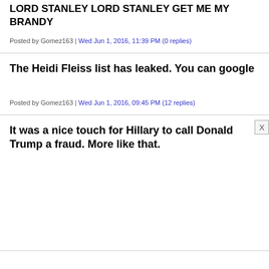LORD STANLEY LORD STANLEY GET ME MY BRANDY
Posted by Gomez163 | Wed Jun 1, 2016, 11:39 PM (0 replies)
The Heidi Fleiss list has leaked. You can google
Posted by Gomez163 | Wed Jun 1, 2016, 09:45 PM (12 replies)
It was a nice touch for Hillary to call Donald Trump a fraud. More like that.